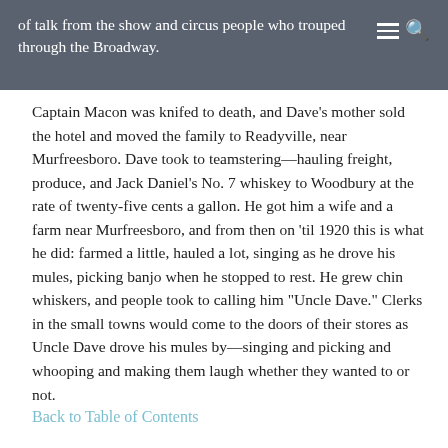of talk from the show and circus people who trouped through the Broadway.
Captain Macon was knifed to death, and Dave's mother sold the hotel and moved the family to Readyville, near Murfreesboro. Dave took to teamstering—hauling freight, produce, and Jack Daniel's No. 7 whiskey to Woodbury at the rate of twenty-five cents a gallon. He got him a wife and a farm near Murfreesboro, and from then on 'til 1920 this is what he did: farmed a little, hauled a lot, singing as he drove his mules, picking banjo when he stopped to rest. He grew chin whiskers, and people took to calling him "Uncle Dave." Clerks in the small towns would come to the doors of their stores as Uncle Dave drove his mules by—singing and picking and whooping and making them laugh whether they wanted to or not.
Back to Table of Contents